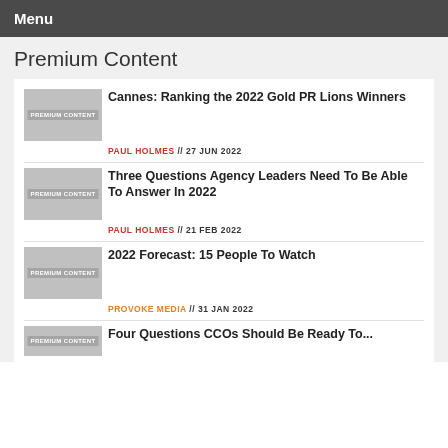Menu
Premium Content
PREMIUM CONTENT | Cannes: Ranking the 2022 Gold PR Lions Winners | PAUL HOLMES // 27 JUN 2022
PREMIUM CONTENT | Three Questions Agency Leaders Need To Be Able To Answer In 2022 | PAUL HOLMES // 21 FEB 2022
PREMIUM CONTENT | 2022 Forecast: 15 People To Watch | PROVOKE MEDIA // 31 JAN 2022
PREMIUM CONTENT | Four Questions CCOs Should Be Ready To...